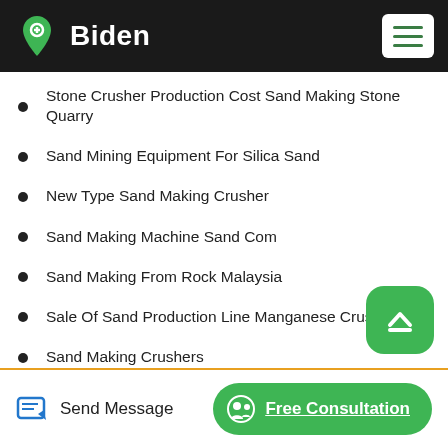Biden
Stone Crusher Production Cost Sand Making Stone Quarry
Sand Mining Equipment For Silica Sand
New Type Sand Making Crusher
Sand Making Machine Sand Com
Sand Making From Rock Malaysia
Sale Of Sand Production Line Manganese Crusher
Sand Making Crushers
Type And Model Of Sand Making Machine
Send Message   Free Consultation